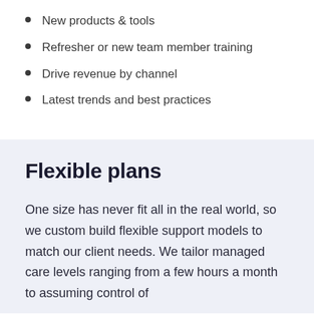New products & tools
Refresher or new team member training
Drive revenue by channel
Latest trends and best practices
Flexible plans
One size has never fit all in the real world, so we custom build flexible support models to match our client needs. We tailor managed care levels ranging from a few hours a month to assuming control of